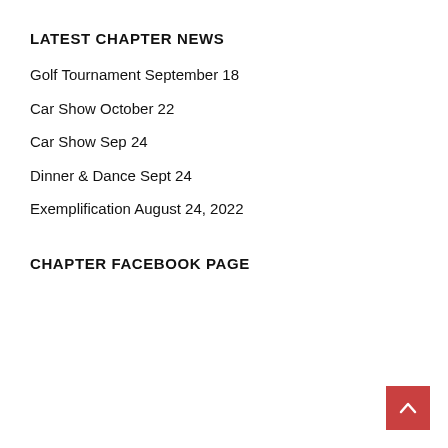LATEST CHAPTER NEWS
Golf Tournament September 18
Car Show October 22
Car Show Sep 24
Dinner & Dance Sept 24
Exemplification August 24, 2022
CHAPTER FACEBOOK PAGE